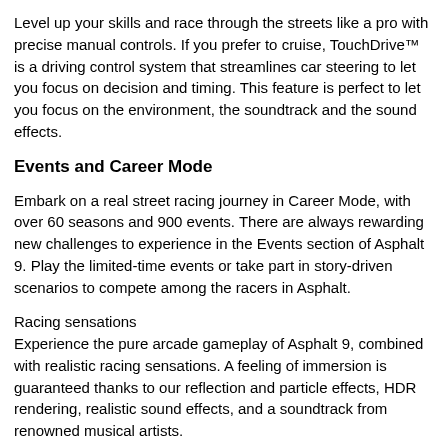Level up your skills and race through the streets like a pro with precise manual controls. If you prefer to cruise, TouchDrive™ is a driving control system that streamlines car steering to let you focus on decision and timing. This feature is perfect to let you focus on the environment, the soundtrack and the sound effects.
Events and Career Mode
Embark on a real street racing journey in Career Mode, with over 60 seasons and 900 events. There are always rewarding new challenges to experience in the Events section of Asphalt 9. Play the limited-time events or take part in story-driven scenarios to compete among the racers in Asphalt.
Racing sensations
Experience the pure arcade gameplay of Asphalt 9, combined with realistic racing sensations. A feeling of immersion is guaranteed thanks to our reflection and particle effects, HDR rendering, realistic sound effects, and a soundtrack from renowned musical artists.
Multiplayer mode & racing club